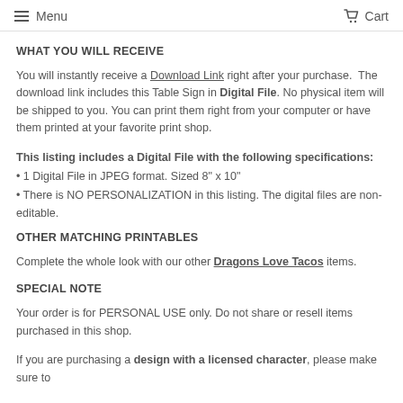Menu   Cart
WHAT YOU WILL RECEIVE
You will instantly receive a Download Link right after your purchase. The download link includes this Table Sign in Digital File. No physical item will be shipped to you. You can print them right from your computer or have them printed at your favorite print shop.
This listing includes a Digital File with the following specifications:
• 1 Digital File in JPEG format. Sized 8" x 10"
• There is NO PERSONALIZATION in this listing. The digital files are non-editable.
OTHER MATCHING PRINTABLES
Complete the whole look with our other Dragons Love Tacos items.
SPECIAL NOTE
Your order is for PERSONAL USE only. Do not share or resell items purchased in this shop.
If you are purchasing a design with a licensed character, please make sure to